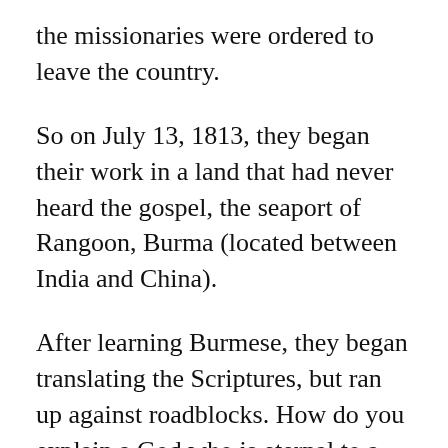the missionaries were ordered to leave the country.
So on July 13, 1813, they began their work in a land that had never heard the gospel, the seaport of Rangoon, Burma (located between India and China).
After learning Burmese, they began translating the Scriptures, but ran up against roadblocks. How do you explain a God who is eternal to a people who have never heard such a concept, and have no words in their language to accurately describe God, Heaven, and eternity?